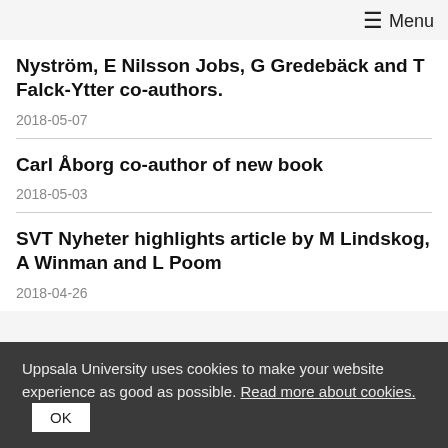≡ Menu
Nyström, E Nilsson Jobs, G Gredebäck and T Falck-Ytter co-authors.
2018-05-07
Carl Åborg co-author of new book
2018-05-03
SVT Nyheter highlights article by M Lindskog, A Winman and L Poom
2018-04-26
Uppsala University uses cookies to make your website experience as good as possible. Read more about cookies. OK